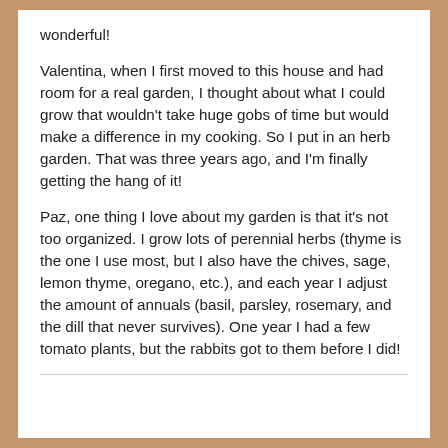wonderful!
Valentina, when I first moved to this house and had room for a real garden, I thought about what I could grow that wouldn't take huge gobs of time but would make a difference in my cooking. So I put in an herb garden. That was three years ago, and I'm finally getting the hang of it!
Paz, one thing I love about my garden is that it's not too organized. I grow lots of perennial herbs (thyme is the one I use most, but I also have the chives, sage, lemon thyme, oregano, etc.), and each year I adjust the amount of annuals (basil, parsley, rosemary, and the dill that never survives). One year I had a few tomato plants, but the rabbits got to them before I did!